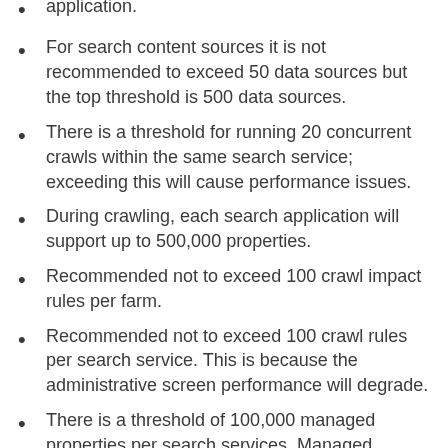application.
For search content sources it is not recommended to exceed 50 data sources but the top threshold is 500 data sources.
There is a threshold for running 20 concurrent crawls within the same search service; exceeding this will cause performance issues.
During crawling, each search application will support up to 500,000 properties.
Recommended not to exceed 100 crawl impact rules per farm.
Recommended not to exceed 100 crawl rules per search service. This is because the administrative screen performance will degrade.
There is a threshold of 100,000 managed properties per search services. Managed properties are used in search queries. Basically the crawled properties are mapped to the managed properties.